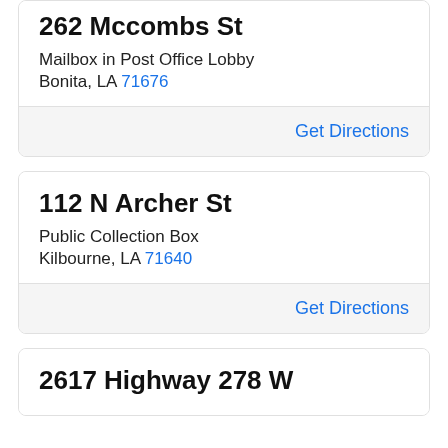262 Mccombs St
Mailbox in Post Office Lobby
Bonita, LA 71676
Get Directions
112 N Archer St
Public Collection Box
Kilbourne, LA 71640
Get Directions
2617 Highway 278 W